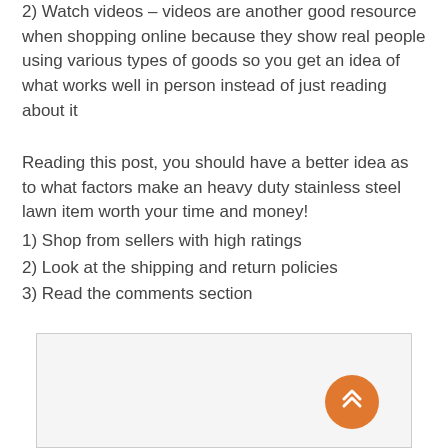2) Watch videos – videos are another good resource when shopping online because they show real people using various types of goods so you get an idea of what works well in person instead of just reading about it
Reading this post, you should have a better idea as to what factors make an heavy duty stainless steel lawn item worth your time and money!
1) Shop from sellers with high ratings
2) Look at the shipping and return policies
3) Read the comments section
[Figure (other): Bottom section with scroll-to-top orange circular button with double chevron up arrow]